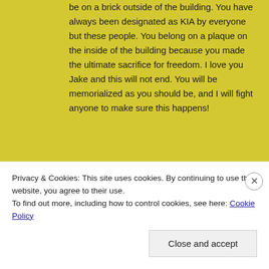be on a brick outside of the building. You have always been designated as KIA by everyone but these people. You belong on a plaque on the inside of the building because you made the ultimate sacrifice for freedom. I love you Jake and this will not end. You will be memorialized as you should be, and I will fight anyone to make sure this happens!
28
Saturday
Mar
The Denver Nugget's Game
Privacy & Cookies: This site uses cookies. By continuing to use this website, you agree to their use.
To find out more, including how to control cookies, see here: Cookie Policy
Close and accept